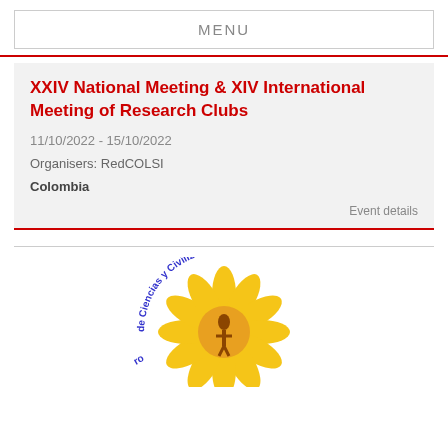MENU
XXIV National Meeting & XIV International Meeting of Research Clubs
11/10/2022 - 15/10/2022
Organisers: RedCOLSI
Colombia
Event details
[Figure (logo): Circular logo with text 'de Ciencias y Civilizacio...' around a sunflower and figure design]